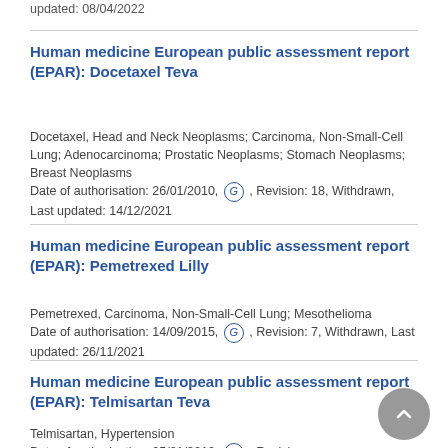updated: 08/04/2022
Human medicine European public assessment report (EPAR): Docetaxel Teva
Docetaxel, Head and Neck Neoplasms; Carcinoma, Non-Small-Cell Lung; Adenocarcinoma; Prostatic Neoplasms; Stomach Neoplasms; Breast Neoplasms
Date of authorisation: 26/01/2010, G , Revision: 18, Withdrawn, Last updated: 14/12/2021
Human medicine European public assessment report (EPAR): Pemetrexed Lilly
Pemetrexed, Carcinoma, Non-Small-Cell Lung; Mesothelioma
Date of authorisation: 14/09/2015, G , Revision: 7, Withdrawn, Last updated: 26/11/2021
Human medicine European public assessment report (EPAR): Telmisartan Teva
Telmisartan, Hypertension
Date of authorisation: 25/01/2010, G , Revision: 11, Withdrawn, Last